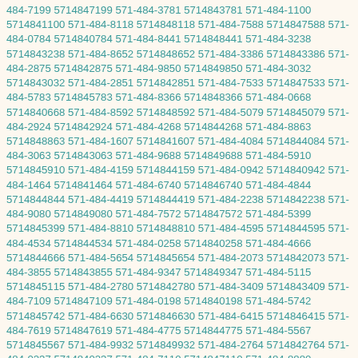484-7199 5714847199 571-484-3781 5714843781 571-484-1100 5714841100 571-484-8118 5714848118 571-484-7588 5714847588 571-484-0784 5714840784 571-484-8441 5714848441 571-484-3238 5714843238 571-484-8652 5714848652 571-484-3386 5714843386 571-484-2875 5714842875 571-484-9850 5714849850 571-484-3032 5714843032 571-484-2851 5714842851 571-484-7533 5714847533 571-484-5783 5714845783 571-484-8366 5714848366 571-484-0668 5714840668 571-484-8592 5714848592 571-484-5079 5714845079 571-484-2924 5714842924 571-484-4268 5714844268 571-484-8863 5714848863 571-484-1607 5714841607 571-484-4084 5714844084 571-484-3063 5714843063 571-484-9688 5714849688 571-484-5910 5714845910 571-484-4159 5714844159 571-484-0942 5714840942 571-484-1464 5714841464 571-484-6740 5714846740 571-484-4844 5714844844 571-484-4419 5714844419 571-484-2238 5714842238 571-484-9080 5714849080 571-484-7572 5714847572 571-484-5399 5714845399 571-484-8810 5714848810 571-484-4595 5714844595 571-484-4534 5714844534 571-484-0258 5714840258 571-484-4666 5714844666 571-484-5654 5714845654 571-484-2073 5714842073 571-484-3855 5714843855 571-484-9347 5714849347 571-484-5115 5714845115 571-484-2780 5714842780 571-484-3409 5714843409 571-484-7109 5714847109 571-484-0198 5714840198 571-484-5742 5714845742 571-484-6630 5714846630 571-484-6415 5714846415 571-484-7619 5714847619 571-484-4775 5714844775 571-484-5567 5714845567 571-484-9932 5714849932 571-484-2764 5714842764 571-484-0237 5714840237 571-484-7110 5714847110 571-484-8880 5714848880 571-484-1482 5714841482 571-484-4310 5714844310 571-484-0982 5714840982 571-484-9991 5714849991 571-484-3041